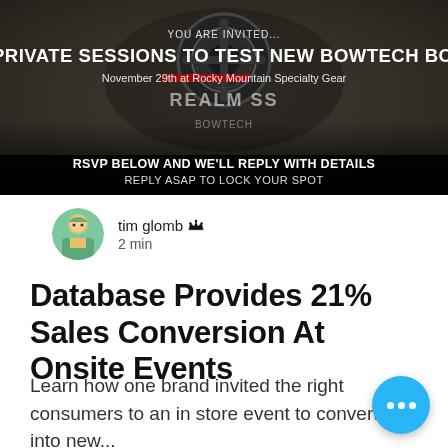[Figure (screenshot): Promotional banner for Bowtech bow private sessions event. Dark background with bow image. Text: 'YOU ARE INVITED... PRIVATE SESSIONS TO TEST NEW BOWTECH BOWS', 'November 29th at Rocky Mountain Specialty Gear', 'RSVP BELOW AND WE'LL REPLY WITH DETAILS', 'REPLY ASAP TO LOCK YOUR SPOT']
tim glomb  2 min
Database Provides 21% Sales Conversion At Onsite Events
Learn how one brand invited the right consumers to an in store event to convert 21% into new...